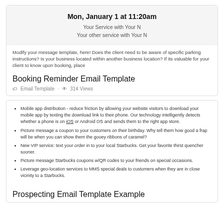[Figure (screenshot): Email template preview showing 'Mon, January 1 at 11:20am' heading with 'Your Service with Your N' and 'Your other service with Your N' lines on a grey background]
Modify your message template, here! Does the client need to be aware of specific parking instructions? Is your business located within another business location? If its valuable for your client to know upon booking, place
Booking Reminder Email Template
Email Template · 314 Views
Mobile app distribution - reduce friction by allowing your website visitors to download your mobile app by texting the download link to their phone. Our technology intelligently detects whether a phone is on iOS or Android OS and sends them to the right app store.
Picture message a coupon to your customers on their birthday. Why tell them how good a frap will be when you can show them the gooey ribbons of caramel?
New VIP service: text your order in to your local Starbucks. Get your favorite thirst quencher sooner.
Picture message Starbucks coupons w/QR codes to your friends on special occasions.
Leverage geo-location services to MMS special deals to customers when they are in close vicinity to a Starbucks.
Prospecting Email Template Example